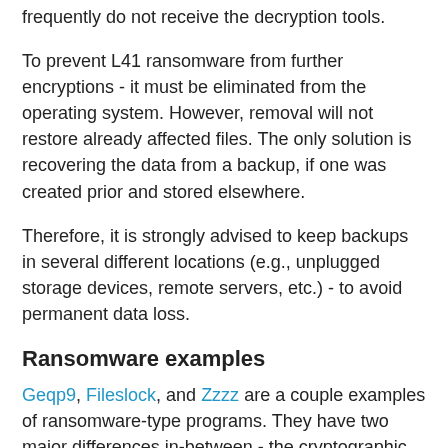frequently do not receive the decryption tools.
To prevent L41 ransomware from further encryptions - it must be eliminated from the operating system. However, removal will not restore already affected files. The only solution is recovering the data from a backup, if one was created prior and stored elsewhere.
Therefore, it is strongly advised to keep backups in several different locations (e.g., unplugged storage devices, remote servers, etc.) - to avoid permanent data loss.
Ransomware examples
Geqp9, Fileslock, and Zzzz are a couple examples of ransomware-type programs. They have two major differences in-between - the cryptographic algorithms they use (symmetric or asymmetric) and the ransom size.
How did ransomware infect my computer?